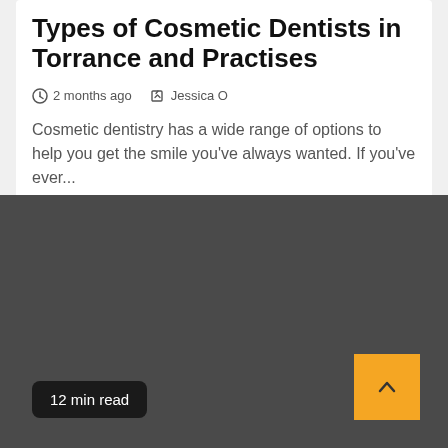Types of Cosmetic Dentists in Torrance and Practises
2 months ago   Jessica O
Cosmetic dentistry has a wide range of options to help you get the smile you've always wanted. If you've ever...
[Figure (photo): Dark gray background panel representing an article image placeholder with a '12 min read' badge in the bottom-left corner and an orange scroll-to-top button in the bottom-right corner.]